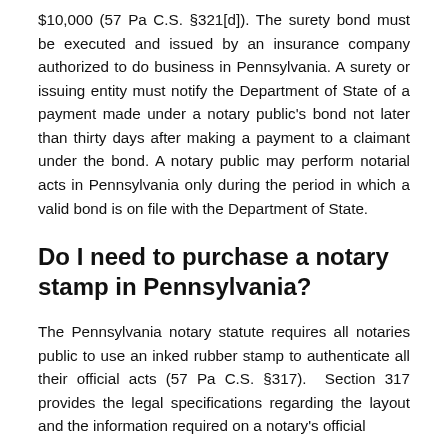$10,000 (57 Pa C.S. §321[d]). The surety bond must be executed and issued by an insurance company authorized to do business in Pennsylvania. A surety or issuing entity must notify the Department of State of a payment made under a notary public's bond not later than thirty days after making a payment to a claimant under the bond. A notary public may perform notarial acts in Pennsylvania only during the period in which a valid bond is on file with the Department of State.
Do I need to purchase a notary stamp in Pennsylvania?
The Pennsylvania notary statute requires all notaries public to use an inked rubber stamp to authenticate all their official acts (57 Pa C.S. §317). Section 317 provides the legal specifications regarding the layout and the information required on a notary's official